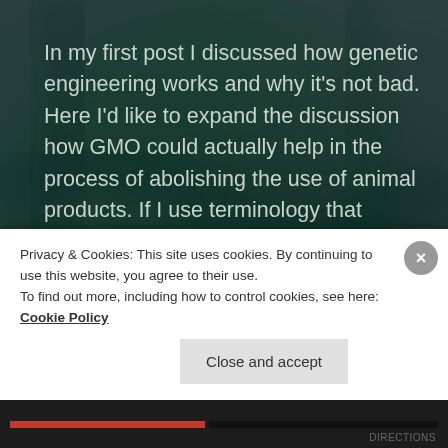In my first post I discussed how genetic engineering works and why it's not bad. Here I'd like to expand the discussion how GMO could actually help in the process of abolishing the use of animal products. If I use terminology that doesn't sound familiar, I explain some in the previous GMO post. Let's go [...]
READ MORE →
Privacy & Cookies: This site uses cookies. By continuing to use this website, you agree to their use.
To find out more, including how to control cookies, see here: Cookie Policy
Close and accept